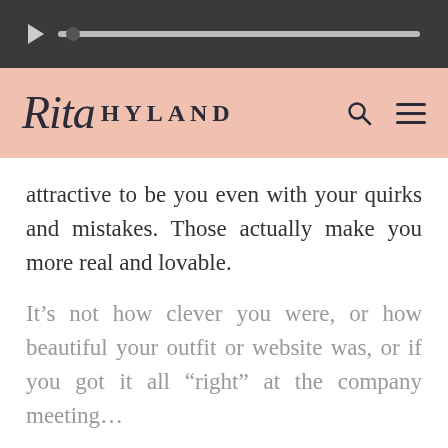[Figure (screenshot): Dark navigation bar with play button and progress track/scrubber]
[Figure (logo): Rita Hyland logo on pink/salmon background with search and menu icons]
attractive to be you even with your quirks and mistakes. Those actually make you more real and lovable.
It’s not how clever you were, or how beautiful your outfit or website was, or if you got it all “right” at the company meeting…